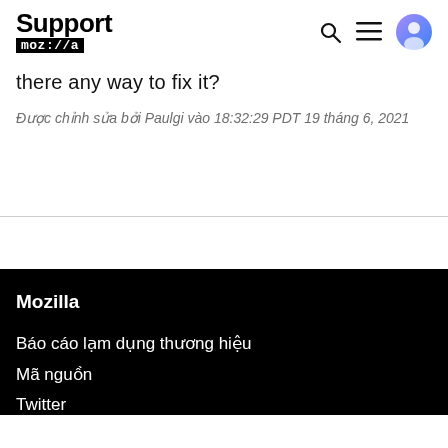Support mozilla
there any way to fix it?
Được chỉnh sửa bởi Paulgi vào 18:32:29 PDT 19 tháng 6, 2021
Mozilla
Báo cáo lạm dụng thương hiệu
Mã nguồn
Twitter